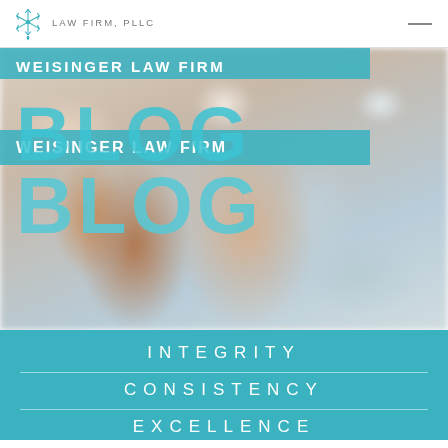LAW FIRM, PLLC
WEISINGER LAW FIRM BLOG
[Figure (photo): Blurred background photo of an elderly couple smiling together]
INTEGRITY
CONSISTENCY
EXCELLENCE